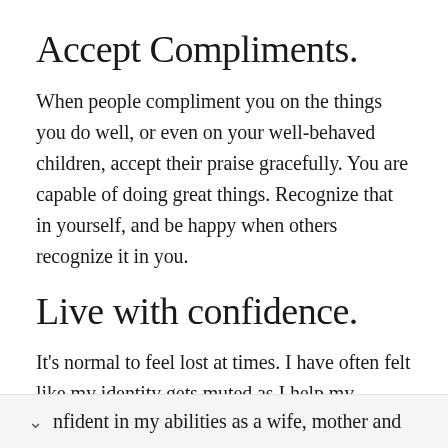Accept Compliments.
When people compliment you on the things you do well, or even on your well-behaved children, accept their praise gracefully. You are capable of doing great things. Recognize that in yourself, and be happy when others recognize it in you.
Live with confidence.
It's normal to feel lost at times. I have often felt like my identity gets muted as I help my children develop their personalities and talents. Feeling confident in my abilities as a wife, mother and